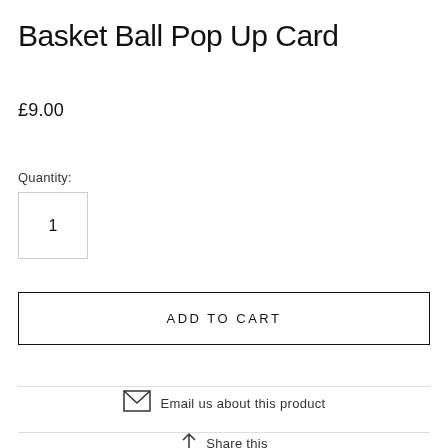Basket Ball Pop Up Card
£9.00
Quantity:
1
ADD TO CART
Email us about this product
Share this